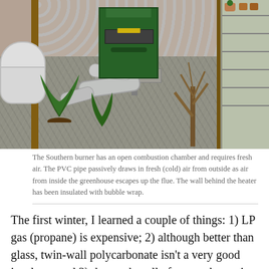[Figure (photo): Interior of a greenhouse showing a green Southern burner/heater in the center on a concrete base, surrounded by gravel floor, plants, PVC pipes for air intake, and a bubble-wrap insulated back wall. Shelving with plants is visible on the right side.]
The Southern burner has an open combustion chamber and requires fresh air.  The PVC pipe passively draws in fresh (cold) air from outside as air from inside the greenhouse escapes up the flue.  The wall behind the heater has been insulated with bubble wrap.
The first winter, I learned a couple of things:  1) LP gas (propane) is expensive; 2) although better than glass, twin-wall polycarbonate isn't a very good insulator, and 3) the north wall of a greenhouse is a heat sink.  I had oriented the greenhouse with its